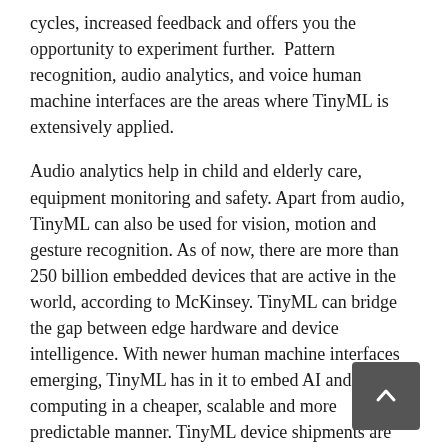cycles, increased feedback and offers you the opportunity to experiment further. Pattern recognition, audio analytics, and voice human machine interfaces are the areas where TinyML is extensively applied.
Audio analytics help in child and elderly care, equipment monitoring and safety. Apart from audio, TinyML can also be used for vision, motion and gesture recognition. As of now, there are more than 250 billion embedded devices that are active in the world, according to McKinsey. TinyML can bridge the gap between edge hardware and device intelligence. With newer human machine interfaces emerging, TinyML has in it to embed AI and computing in a cheaper, scalable and more predictable manner. TinyML device shipments are expected to grow to 2.5 billion in 2030, up from as little as 15 million in 2020.